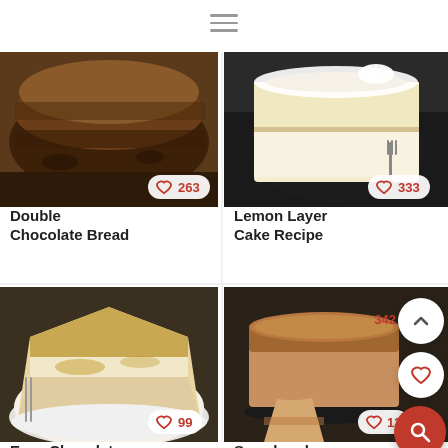[Figure (screenshot): Hamburger menu icon at top center]
[Figure (photo): Photo of sliced double chocolate bread stacked]
Double Chocolate Bread
[Figure (photo): Photo of lemon layer cake slice on dark plate with fork]
Lemon Layer Cake Recipe
[Figure (photo): Photo of chocolate glazed marble cake slice on white plate]
Easy Chocolate Glazed Marble Cake
[Figure (photo): Photo of sourdough cinnamon coffee cake on dark stand]
Sourdough Cinnamon Coffee Cake